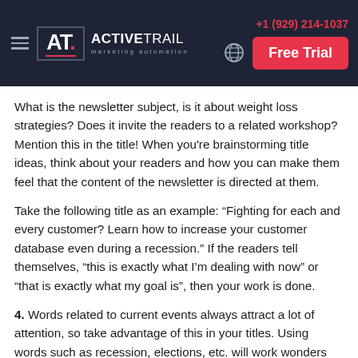+1 (929) 214-1037  ActiveTrail marketing automation  Free Trial
What is the newsletter subject, is it about weight loss strategies? Does it invite the readers to a related workshop? Mention this in the title! When you're brainstorming title ideas, think about your readers and how you can make them feel that the content of the newsletter is directed at them.
Take the following title as an example: “Fighting for each and every customer? Learn how to increase your customer database even during a recession.” If the readers tell themselves, “this is exactly what I’m dealing with now” or “that is exactly what my goal is”, then your work is done.
4. Words related to current events always attract a lot of attention, so take advantage of this in your titles. Using words such as recession, elections, etc. will work wonders for your open rates.
5. Include a call for action, but avoid an exaggerated sense of